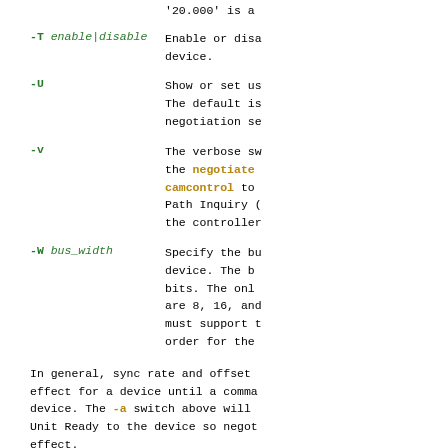'20.000' is a ...
-T enable|disable   Enable or disa... device.
-U   Show or set us... The default is... negotiation se...
-v   The verbose sw... the negotiate... camcontrol to... Path Inquiry (... the controller...
-W bus_width   Specify the bu... device. The b... bits. The onl... are 8, 16, and... must support t... order for the...
In general, sync rate and offset... effect for a device until a comma... device. The -a switch above will... Unit Ready to the device so negot... effect.
-...